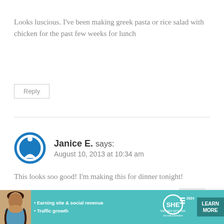Looks luscious. I've been making greek pasta or rice salad with chicken for the past few weeks for lunch
Reply
Janice E. says: August 10, 2013 at 10:34 am
This looks soo good! I'm making this for dinner tonight!
Reply
[Figure (infographic): SHE Partner Network advertisement banner with woman photo, bullet points about earning site & social revenue and traffic growth, SHE logo, and LEARN MORE button]